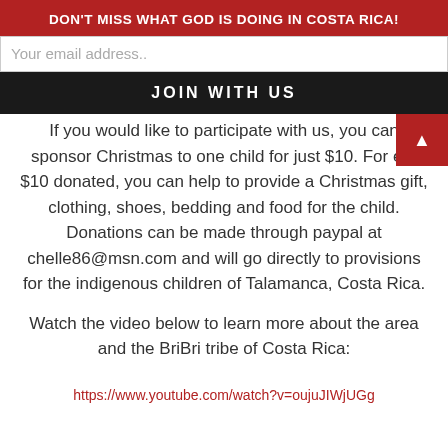DON'T MISS WHAT GOD IS DOING IN COSTA RICA!
Your email address..
JOIN WITH US
If you would like to participate with us, you can sponsor Christmas to one child for just $10. For every $10 donated, you can help to provide a Christmas gift, clothing, shoes, bedding and food for the child. Donations can be made through paypal at chelle86@msn.com and will go directly to provisions for the indigenous children of Talamanca, Costa Rica.
Watch the video below to learn more about the area and the BriBri tribe of Costa Rica:
https://www.youtube.com/watch?v=oujuJIWjUGg